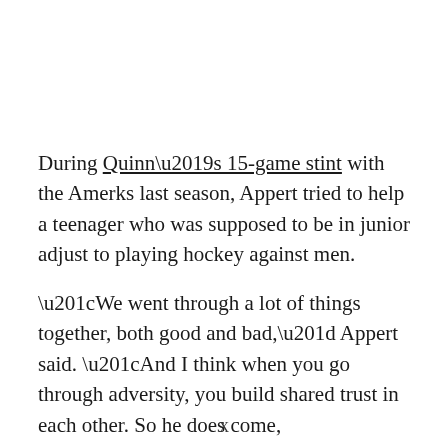During Quinn's 15-game stint with the Amerks last season, Appert tried to help a teenager who was supposed to be in junior adjust to playing hockey against men.
“We went through a lot of things together, both good and bad,” Appert said. “And I think when you go through adversity, you build shared trust in each other. So he does come,
X